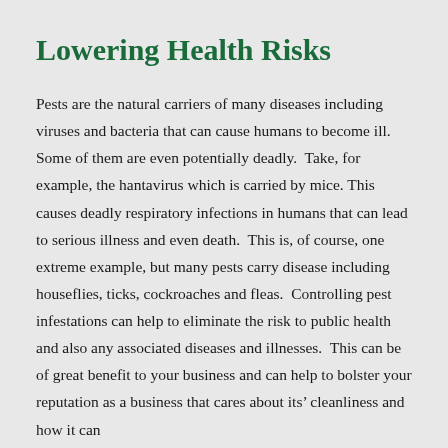Lowering Health Risks
Pests are the natural carriers of many diseases including viruses and bacteria that can cause humans to become ill.  Some of them are even potentially deadly.  Take, for example, the hantavirus which is carried by mice. This causes deadly respiratory infections in humans that can lead to serious illness and even death.  This is, of course, one extreme example, but many pests carry disease including houseflies, ticks, cockroaches and fleas.  Controlling pest infestations can help to eliminate the risk to public health and also any associated diseases and illnesses.  This can be of great benefit to your business and can help to bolster your reputation as a business that cares about its' cleanliness and how it can